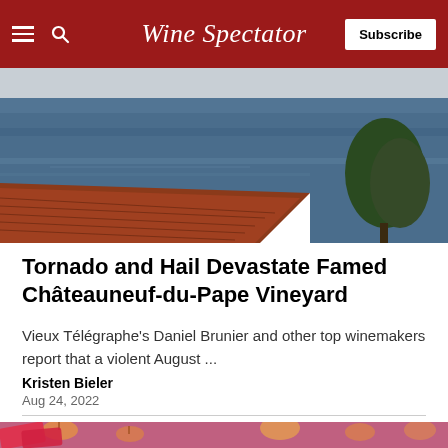Wine Spectator — Subscribe
[Figure (photo): Aerial or coastal view showing blue ocean water with a red terracotta tiled roof in the lower left and a tree on the right side]
Tornado and Hail Devastate Famed Châteauneuf-du-Pape Vineyard
Vieux Télégraphe's Daniel Brunier and other top winemakers report that a violent August ...
Kristen Bieler
Aug 24, 2022
[Figure (photo): Bottom partial photo with pink/purple tones showing what appears to be candles or lights]